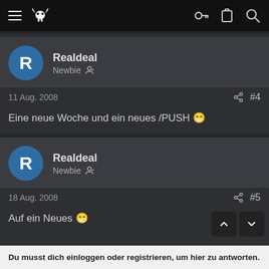Navigation bar with hamburger menu, logo, key icon, clipboard icon, search icon
Realdeal
Newbie
11 Aug. 2008  #4
Eine neue Woche und ein neues /PUSH 😁
Realdeal
Newbie
18 Aug. 2008  #5
Auf ein Neues 😁
Du musst dich einloggen oder registrieren, um hier zu antworten.